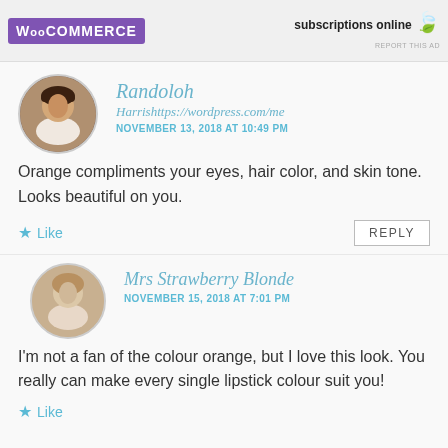[Figure (other): WooCommerce advertisement banner with purple logo and 'subscriptions online' text with teal leaf icon and 'REPORT THIS AD' label]
Randoloh
Harrishttps://wordpress.com/me
NOVEMBER 13, 2018 AT 10:49 PM
Orange compliments your eyes, hair color, and skin tone. Looks beautiful on you.
Like
REPLY
Mrs Strawberry Blonde
NOVEMBER 15, 2018 AT 7:01 PM
I'm not a fan of the colour orange, but I love this look. You really can make every single lipstick colour suit you!
Like